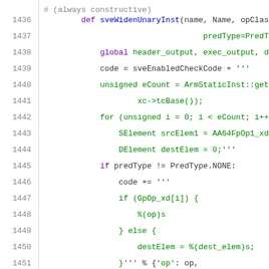[Figure (screenshot): Source code snippet showing Python code for sveWidenUnaryInst function with line numbers 1435-1456, syntax highlighted in purple, blue, green, and black on white background.]